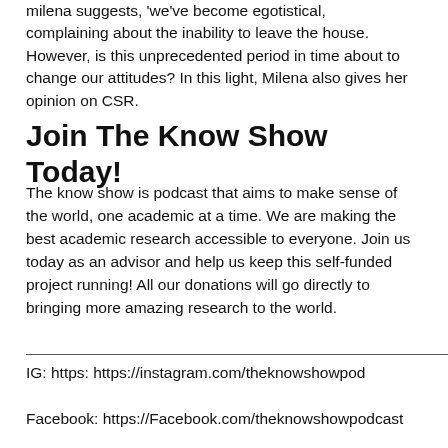milena suggests, 'we've become egotistical, complaining about the inability to leave the house. However, is this unprecedented period in time about to change our attitudes? In this light, Milena also gives her opinion on CSR.
Join The Know Show Today!
The know show is podcast that aims to make sense of the world, one academic at a time. We are making the best academic research accessible to everyone. Join us today as an advisor and help us keep this self-funded project running! All our donations will go directly to bringing more amazing research to the world.
IG: https: https://instagram.com/theknowshowpod

Facebook: https://Facebook.com/theknowshowpodcast